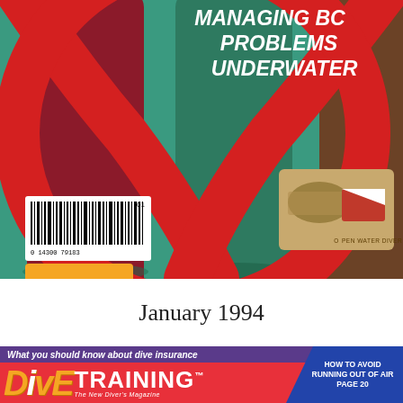[Figure (illustration): Top portion of a Dive Training magazine cover from January 1994. Shows scuba tanks in teal/green background with a large red diagonal stripe/circle across them. Text reads 'MANAGING BC PROBLEMS UNDERWATER' in white bold italic. A certification card for 'OPEN WATER DIVER' with world map and dive flag graphic is visible. A barcode is in the lower left area. A yellow/orange shape is partially visible at bottom left.]
January 1994
[Figure (illustration): Bottom strip showing Dive Training magazine cover header. Purple bar at top reads 'What you should know about dive insurance'. Below is red background with large orange/yellow italic 'DIVE' and white bold 'TRAINING' logo with trademark symbol, and tagline 'The New Diver's Magazine'. Blue diagonal banner on right reads 'HOW TO AVOID RUNNING OUT OF AIR PAGE 20'.]